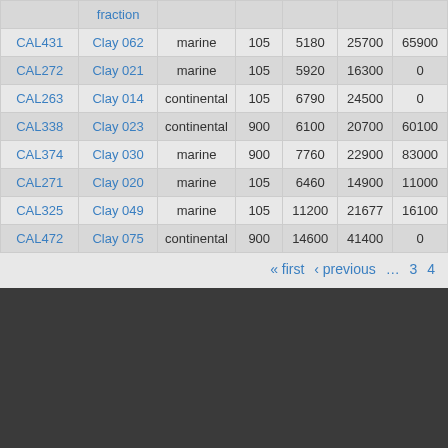|  | fraction |  |  |  |  |  |
| --- | --- | --- | --- | --- | --- | --- |
| CAL431 | Clay 062 | marine | 105 | 5180 | 25700 | 65900 |
| CAL272 | Clay 021 | marine | 105 | 5920 | 16300 | 0 |
| CAL263 | Clay 014 | continental | 105 | 6790 | 24500 | 0 |
| CAL338 | Clay 023 | continental | 900 | 6100 | 20700 | 60100 |
| CAL374 | Clay 030 | marine | 900 | 7760 | 22900 | 83000 |
| CAL271 | Clay 020 | marine | 105 | 6460 | 14900 | 11000 |
| CAL325 | Clay 049 | marine | 105 | 11200 | 21677 | 16100 |
| CAL472 | Clay 075 | continental | 900 | 14600 | 41400 | 0 |
« first ‹ previous … 3 4
USER LOGIN
You will be redirected to the secure